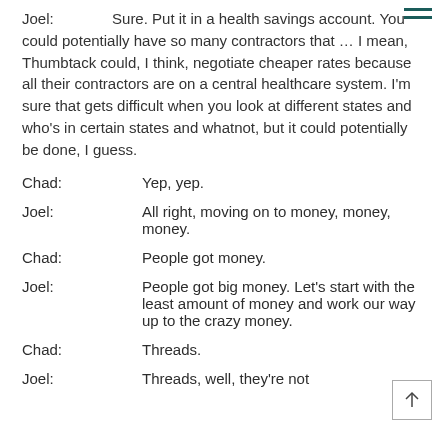Joel:               Sure. Put it in a health savings account. You could potentially have so many contractors that … I mean, Thumbtack could, I think, negotiate cheaper rates because all their contractors are on a central healthcare system. I'm sure that gets difficult when you look at different states and who's in certain states and whatnot, but it could potentially be done, I guess.
Chad:               Yep, yep.
Joel:               All right, moving on to money, money, money.
Chad:               People got money.
Joel:               People got big money. Let's start with the least amount of money and work our way up to the crazy money.
Chad:               Threads.
Joel:               Threads, well, they're not